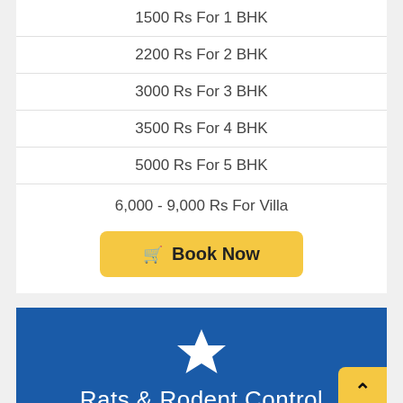1500 Rs For 1 BHK
2200 Rs For 2 BHK
3000 Rs For 3 BHK
3500 Rs For 4 BHK
5000 Rs For 5 BHK
6,000 - 9,000 Rs For Villa
Book Now
[Figure (illustration): White star icon on blue background]
Rats & Rodent Control